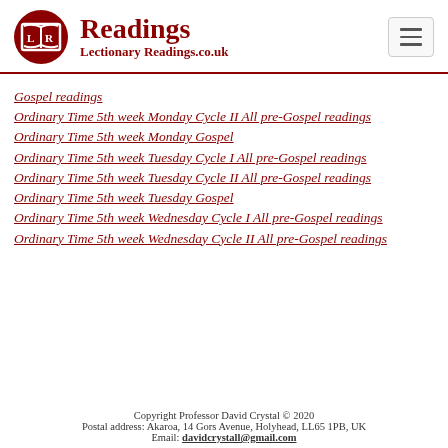Readings — LectionaryReadings.co.uk
Gospel readings
Ordinary Time 5th week Monday Cycle II All pre-Gospel readings
Ordinary Time 5th week Monday Gospel
Ordinary Time 5th week Tuesday Cycle I All pre-Gospel readings
Ordinary Time 5th week Tuesday Cycle II All pre-Gospel readings
Ordinary Time 5th week Tuesday Gospel
Ordinary Time 5th week Wednesday Cycle I All pre-Gospel readings
Ordinary Time 5th week Wednesday Cycle II All pre-Gospel readings
Copyright Professor David Crystal © 2020
Postal address: Akaroa, 14 Gors Avenue, Holyhead, LL65 1PB, UK
Email: davidcrystall@gmail.com